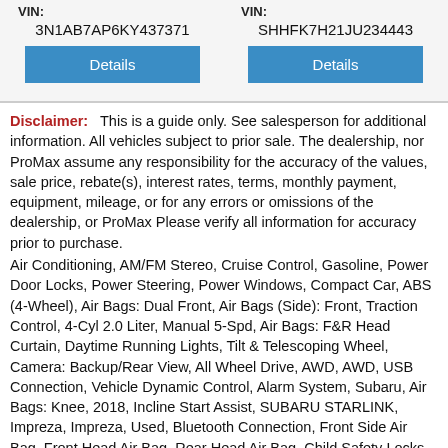VIN: 3N1AB7AP6KY437371
VIN: SHHFK7H21JU234443
Disclaimer: This is a guide only. See salesperson for additional information. All vehicles subject to prior sale. The dealership, nor ProMax assume any responsibility for the accuracy of the values, sale price, rebate(s), interest rates, terms, monthly payment, equipment, mileage, or for any errors or omissions of the dealership, or ProMax Please verify all information for accuracy prior to purchase.
Air Conditioning, AM/FM Stereo, Cruise Control, Gasoline, Power Door Locks, Power Steering, Power Windows, Compact Car, ABS (4-Wheel), Air Bags: Dual Front, Air Bags (Side): Front, Traction Control, 4-Cyl 2.0 Liter, Manual 5-Spd, Air Bags: F&R Head Curtain, Daytime Running Lights, Tilt & Telescoping Wheel, Camera: Backup/Rear View, All Wheel Drive, AWD, AWD, USB Connection, Vehicle Dynamic Control, Alarm System, Subaru, Air Bags: Knee, 2018, Incline Start Assist, SUBARU STARLINK, Impreza, Impreza, Used, Bluetooth Connection, Front Side Air Bag, Front Head Air Bag, Rear Head Air Bag, Child Safety Locks, Daytime Running Lights, Traction Control, Stability Control, Brake Assist, Driver Air Bag, Passenger Air Bag, Passenger Air Bag Sensor, Tire Pressure Monitor, ABS, 4-Wheel Disc Brakes, Power Steering, Pass-Through Rear Seat, Bucket Seats, Rear Bench Seat, Cloth